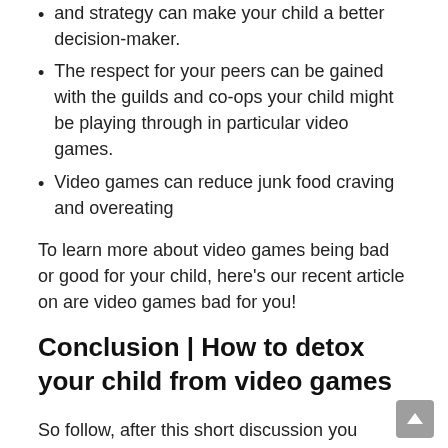and strategy can make your child a better decision-maker.
The respect for your peers can be gained with the guilds and co-ops your child might be playing through in particular video games.
Video games can reduce junk food craving and overeating
To learn more about video games being bad or good for your child, here's our recent article on are video games bad for you!
Conclusion | How to detox your child from video games
So follow, after this short discussion you